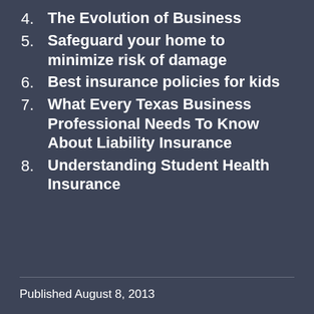4. The Evolution of Business
5. Safeguard your home to minimize risk of damage
6. Best insurance policies for kids
7. What Every Texas Business Professional Needs To Know About Liability Insurance
8. Understanding Student Health Insurance
Published August 8, 2013